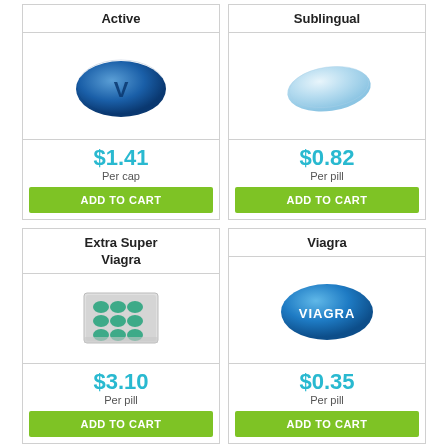Active
[Figure (photo): Blue oval pill with letter V]
$1.41
Per cap
ADD TO CART
Sublingual
[Figure (photo): Light blue diamond-shaped pill]
$0.82
Per pill
ADD TO CART
Extra Super Viagra
[Figure (photo): Blister pack of green pills]
$3.10
Per pill
ADD TO CART
Viagra
[Figure (photo): Blue oval pill labeled VIAGRA]
$0.35
Per pill
ADD TO CART